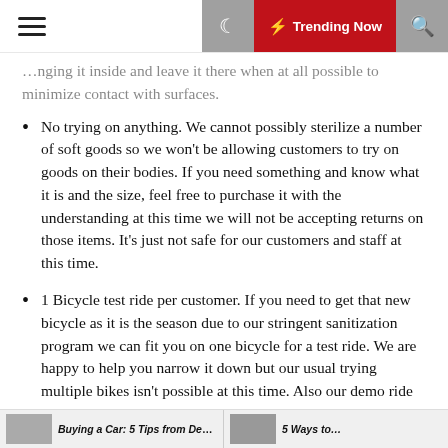≡ ☾ ⚡ Trending Now 🔍
…bringing it inside and leave it there when at all possible to minimize contact with surfaces.
No trying on anything. We cannot possibly sterilize a number of soft goods so we won't be allowing customers to try on goods on their bodies. If you need something and know what it is and the size, feel free to purchase it with the understanding at this time we will not be accepting returns on those items. It's just not safe for our customers and staff at this time.
1 Bicycle test ride per customer. If you need to get that new bicycle as it is the season due to our stringent sanitization program we can fit you on one bicycle for a test ride. We are happy to help you narrow it down but our usual trying multiple bikes isn't possible at this time. Also our demo ride dates this spring have been postponed by all our companies for the season for the same reasons.
Buying a Car: 5 Tips from Dealerships    5 Ways to…